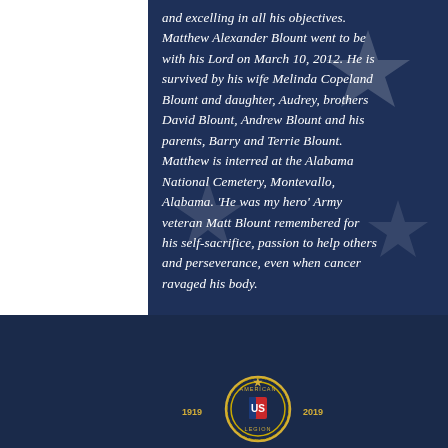and excelling in all his objectives. Matthew Alexander Blount went to be with his Lord on March 10, 2012. He is survived by his wife Melinda Copeland Blount and daughter, Audrey, brothers David Blount, Andrew Blount and his parents, Barry and Terrie Blount. Matthew is interred at the Alabama National Cemetery, Montevallo, Alabama. 'He was my hero' Army veteran Matt Blount remembered for his self-sacrifice, passion to help others and perseverance, even when cancer ravaged his body.
© 2022 American Legion Matthew Blount Post 555
[Figure (logo): American Legion emblem/seal, circular gold badge with US shield in center, years 1919 and 2019 on sides]